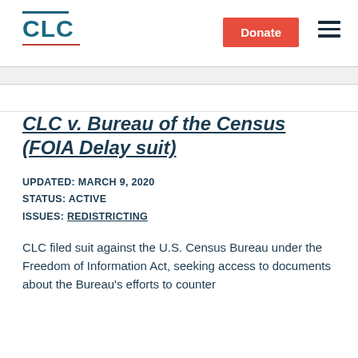CLC | Donate
CLC v. Bureau of the Census (FOIA Delay suit)
UPDATED: MARCH 9, 2020
STATUS: ACTIVE
ISSUES: REDISTRICTING
CLC filed suit against the U.S. Census Bureau under the Freedom of Information Act, seeking access to documents about the Bureau's efforts to counter...